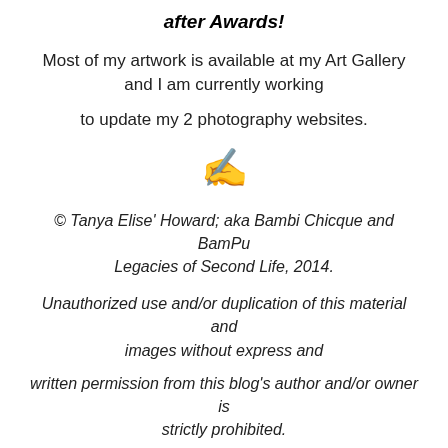after Awards!
Most of my artwork is available at my Art Gallery and I am currently working
to update my 2 photography websites.
[Figure (illustration): Writing hand emoji with lightning bolt]
© Tanya Elise' Howard; aka Bambi Chicque and BamPu Legacies of Second Life, 2014.
Unauthorized use and/or duplication of this material and images without express and
written permission from this blog's author and/or owner is strictly prohibited.